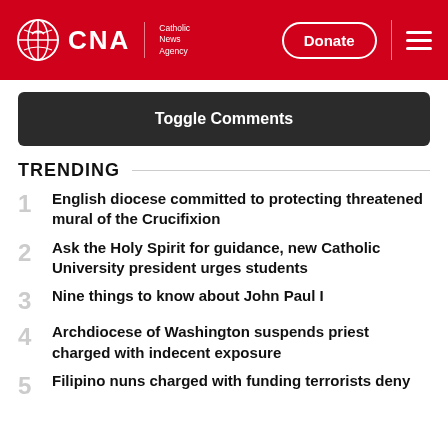CNA Catholic News Agency
Toggle Comments
TRENDING
1 English diocese committed to protecting threatened mural of the Crucifixion
2 Ask the Holy Spirit for guidance, new Catholic University president urges students
3 Nine things to know about John Paul I
4 Archdiocese of Washington suspends priest charged with indecent exposure
5 Filipino nuns charged with funding terrorists deny...